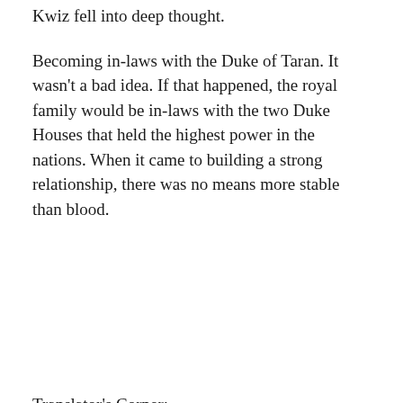Kwiz fell into deep thought.
Becoming in-laws with the Duke of Taran. It wasn't a bad idea. If that happened, the royal family would be in-laws with the two Duke Houses that held the highest power in the nations. When it came to building a strong relationship, there was no means more stable than blood.
Translator's Corner:
[1] This is saying that means: Children tend to obey their parents when they are young but do as they wish when they grow up.